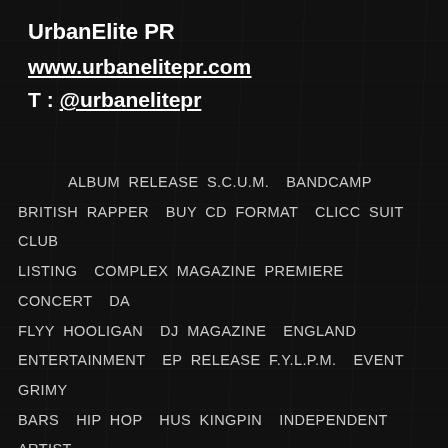UrbanElite PR
www.urbanelitepr.com
T : @urbanelitepr
ALBUM RELEASE S.C.U.M. BANDCAMP BRITISH RAPPER BUY CD FORMAT CLICC SUIT CLUB LISTING COMPLEX MAGAZINE PREMIERE CONCERT DA FLYY HOOLIGAN DJ MAGAZINE ENGLAND ENTERTAINMENT EP RELEASE F.Y.L.P.M. EVENT GRIMY BARS HIP HOP HUS KINGPIN INDEPENDENT ARTIST INTERNATIONAL LIVE MUSIC VENUE LYRICIST MEDIA NEIL KULKARNI NEW MUSIC NIGHLIFE OFFICIAL VIDEO PERFORMING LIVE SHOW LONDON PINROLLS PR REPRESENTATIVE PRESS PROMOTIONS COMPANY PUBLICIST RADIO RAP RITZY PICTURE HOUSE